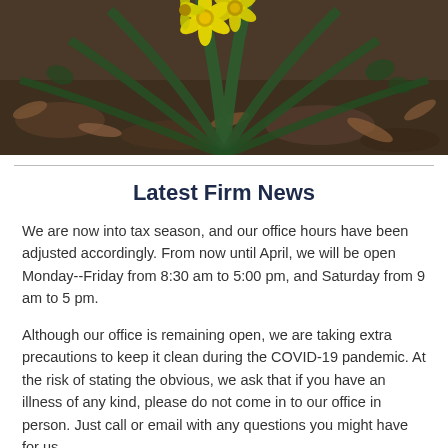[Figure (photo): Photo of yellow daffodil flowers with long green leaves against a background of dark soil and dried leaves]
Latest Firm News
We are now into tax season, and our office hours have been adjusted accordingly. From now until April, we will be open Monday--Friday from 8:30 am to 5:00 pm, and Saturday from 9 am to 5 pm.
Although our office is remaining open, we are taking extra precautions to keep it clean during the COVID-19 pandemic. At the risk of stating the obvious, we ask that if you have an illness of any kind, please do not come in to our office in person. Just call or email with any questions you might have for us.